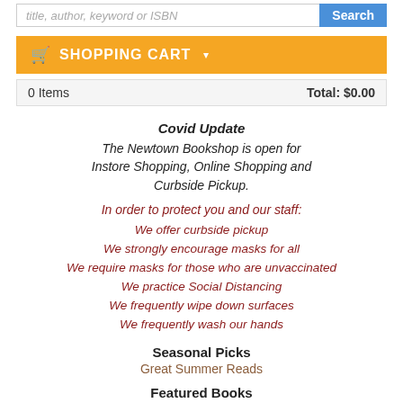title, author, keyword or ISBN | Search
SHOPPING CART
| 0 Items | Total: $0.00 |
| --- | --- |
Covid Update
The Newtown Bookshop is open for Instore Shopping, Online Shopping and Curbside Pickup.
In order to protect you and our staff:
We offer curbside pickup
We strongly encourage masks for all
We require masks for those who are unvaccinated
We practice Social Distancing
We frequently wipe down surfaces
We frequently wash our hands
Seasonal Picks
Great Summer Reads
Featured Books
Preorder Now